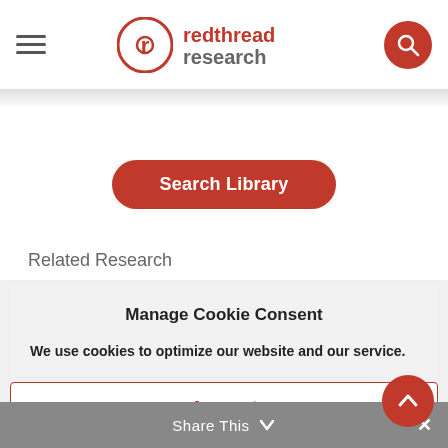[Figure (logo): Red Thread Research logo with circular RT icon and red/gray wordmark]
Search Library
Related Research
Manage Cookie Consent
We use cookies to optimize our website and our service.
Accept
Share This